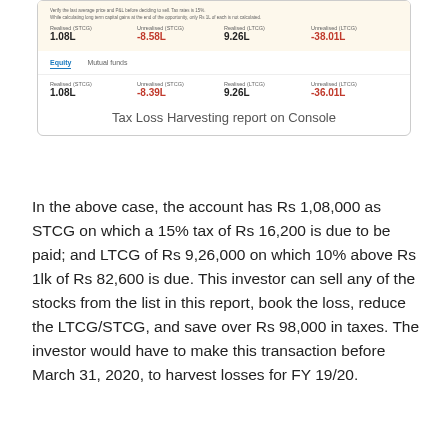[Figure (screenshot): Screenshot of Tax Loss Harvesting report on Console showing Realised and Unrealised STCG/LTCG figures for Equity and Mutual Funds categories]
Tax Loss Harvesting report on Console
In the above case, the account has Rs 1,08,000 as STCG on which a 15% tax of Rs 16,200 is due to be paid; and LTCG of Rs 9,26,000 on which 10% above Rs 1lk of Rs 82,600 is due. This investor can sell any of the stocks from the list in this report, book the loss, reduce the LTCG/STCG, and save over Rs 98,000 in taxes. The investor would have to make this transaction before March 31, 2020, to harvest losses for FY 19/20.